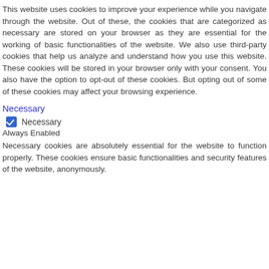This website uses cookies to improve your experience while you navigate through the website. Out of these, the cookies that are categorized as necessary are stored on your browser as they are essential for the working of basic functionalities of the website. We also use third-party cookies that help us analyze and understand how you use this website. These cookies will be stored in your browser only with your consent. You also have the option to opt-out of these cookies. But opting out of some of these cookies may affect your browsing experience.
Necessary
Necessary
Always Enabled
Necessary cookies are absolutely essential for the website to function properly. These cookies ensure basic functionalities and security features of the website, anonymously.